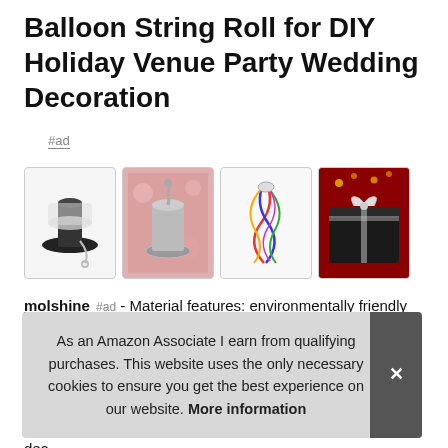Balloon String Roll for DIY Holiday Venue Party Wedding Decoration
#ad
[Figure (photo): Four product photos: white ribbon spool on black reel, silver metallic ribbon spool, colorful curly ribbons, and a black gift box with white bow on red background]
molshine #ad - Material features: environmentally friendly plastic material, no peculiar smell. Commodity size: ribbon- l 500 chil Do deco
As an Amazon Associate I earn from qualifying purchases. This website uses the only necessary cookies to ensure you get the best experience on our website. More information